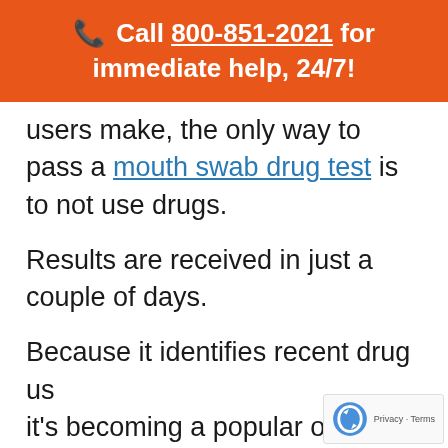📞 Call 800-851-2021 for immediate help, 24/7!
users make, the only way to pass a mouth swab drug test is to not use drugs.
Results are received in just a couple of days.
Because it identifies recent drug us... it's becoming a popular option for